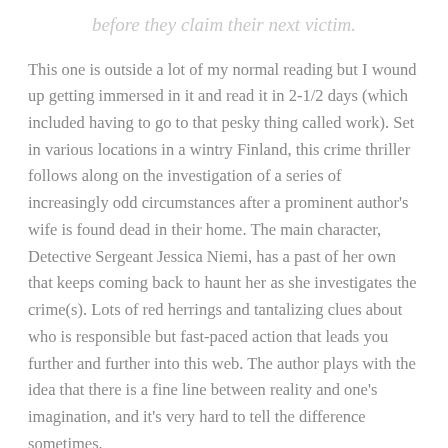before they claim their next victim.
This one is outside a lot of my normal reading but I wound up getting immersed in it and read it in 2-1/2 days (which included having to go to that pesky thing called work). Set in various locations in a wintry Finland, this crime thriller follows along on the investigation of a series of increasingly odd circumstances after a prominent author's wife is found dead in their home. The main character, Detective Sergeant Jessica Niemi, has a past of her own that keeps coming back to haunt her as she investigates the crime(s). Lots of red herrings and tantalizing clues about who is responsible but fast-paced action that leads you further and further into this web. The author plays with the idea that there is a fine line between reality and one's imagination, and it's very hard to tell the difference sometimes.